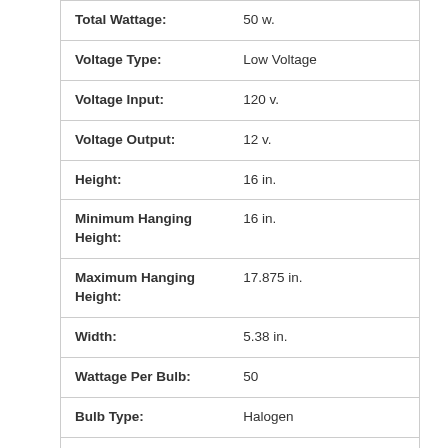| Attribute | Value |
| --- | --- |
| Total Wattage: | 50 w. |
| Voltage Type: | Low Voltage |
| Voltage Input: | 120 v. |
| Voltage Output: | 12 v. |
| Height: | 16 in. |
| Minimum Hanging Height: | 16 in. |
| Maximum Hanging Height: | 17.875 in. |
| Width: | 5.38 in. |
| Wattage Per Bulb: | 50 |
| Bulb Type: | Halogen |
| Bulb Shape: | T4 |